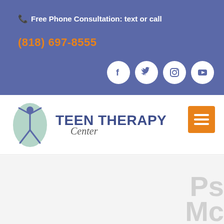Free Phone Consultation: text or call
(818) 697-8555
[Figure (logo): Social media icons: Facebook, Twitter, Instagram, YouTube — white circles on blue background]
[Figure (logo): Teen Therapy Center logo with figure icon on green oval background and bold blue text 'TEEN THERAPY' with italic 'Center' below]
[Figure (other): Orange hamburger menu button with three horizontal lines]
[Figure (other): Light gray content area with faint large watermark letters in bottom right corner]